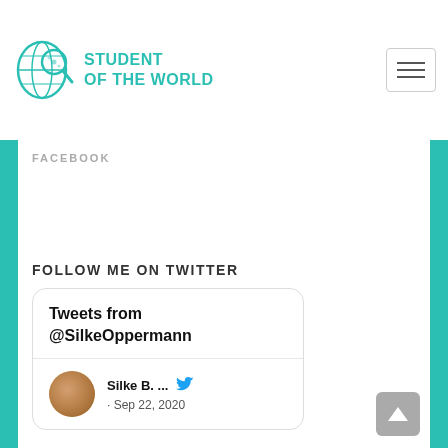[Figure (logo): Student of the World logo with globe and magnifying glass icon in teal]
[Figure (other): Hamburger menu button (three horizontal lines)]
FACEBOOK
FOLLOW ME ON TWITTER
[Figure (screenshot): Twitter widget card showing 'Tweets from @SilkeOppermann' with profile: Silke B. ... Sep 22, 2020]
[Figure (other): Back to top button with upward arrow]